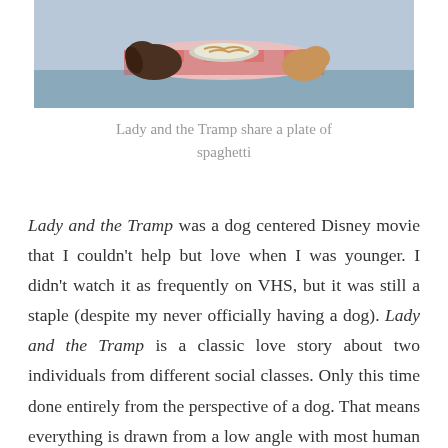[Figure (illustration): Animated still from Lady and the Tramp showing two dogs at a table with a plate of spaghetti, checkered tablecloth visible]
Lady and the Tramp share a plate of spaghetti
Lady and the Tramp was a dog centered Disney movie that I couldn't help but love when I was younger. I didn't watch it as frequently on VHS, but it was still a staple (despite my never officially having a dog). Lady and the Tramp is a classic love story about two individuals from different social classes. Only this time done entirely from the perspective of a dog. That means everything is drawn from a low angle with most human characters having partially obscured faces. On Christmas day in 1909, Jim Dear and